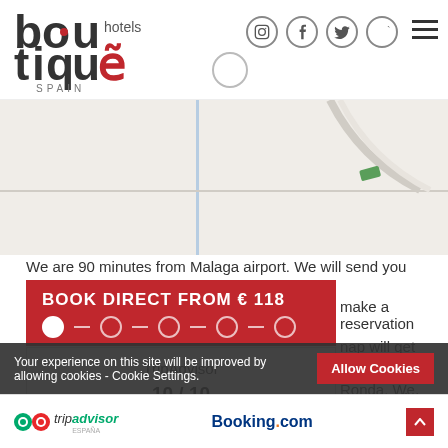[Figure (screenshot): Boutique Hotels Spain website header with logo and social media icons (Instagram, Facebook, Twitter, YouTube) and hamburger menu]
[Figure (map): Google Maps style map showing road near Ronda, Spain with a green map marker]
We are 90 minutes from Malaga airport. We will send you
[Figure (other): Red 'Book Direct From € 118' promotional banner with navigation dots]
make a reservation
nap will get you to
| TripAdvisor |
| --- |
| 10 / 10 |
-west of Ronda. We
ou turn off the A397
Your experience on this site will be improved by allowing cookies - Cookie Settings.
9.4 / 10
Allow Cookies
[Figure (logo): TripAdvisor owl logo and Booking.com logo in footer bar]